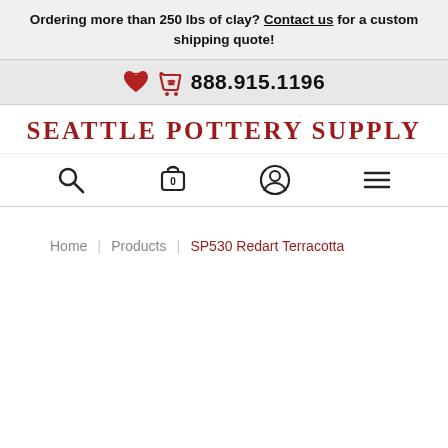Ordering more than 250 lbs of clay? Contact us for a custom shipping quote!
888.915.1196
SEATTLE POTTERY SUPPLY
[Figure (infographic): Navigation icons: search magnifying glass, shopping cart with 0, user account circle, and hamburger menu]
Home | Products | SP530 Redart Terracotta